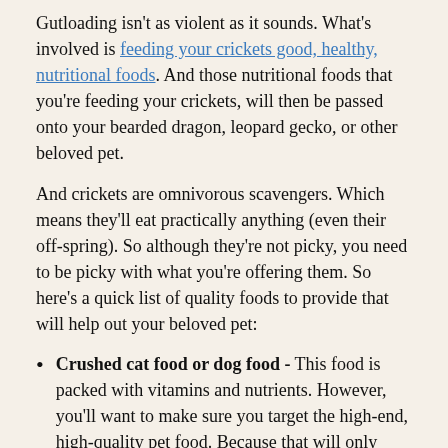Gutloading isn't as violent as it sounds.  What's involved is feeding your crickets good, healthy, nutritional foods.  And those nutritional foods that you're feeding your crickets, will then be passed onto your bearded dragon, leopard gecko, or other beloved pet.
And crickets are omnivorous scavengers.  Which means they'll eat practically anything (even their off-spring).  So although they're not picky, you need to be picky with what you're offering them.  So here's a quick list of quality foods to provide that will help out your beloved pet:
Crushed cat food or dog food - This food is packed with vitamins and nutrients.  However, you'll want to make sure you target the high-end, high-quality pet food.  Because that will only help you have a happier pet in the long run.
Wheat Bran - This stuff is full of fiber.  Which will help your bearded dragon push all that cricket chitin through its digestive track.
Vegetables - Greens like lettuce and spinach are some of the